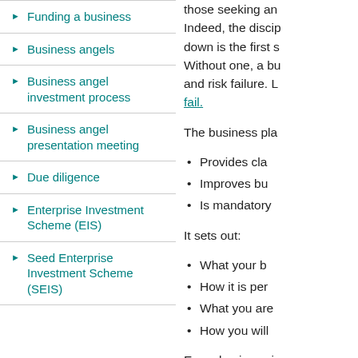Funding a business
Business angels
Business angel investment process
Business angel presentation meeting
Due diligence
Enterprise Investment Scheme (EIS)
Seed Enterprise Investment Scheme (SEIS)
those seeking an... Indeed, the discip... down is the first s... Without one, a bu... and risk failure. L... fail.
The business pla...
Provides cla...
Improves bu...
Is mandatory...
It sets out:
What your b...
How it is per...
What you are...
How you will...
Every business is... plans conform to...